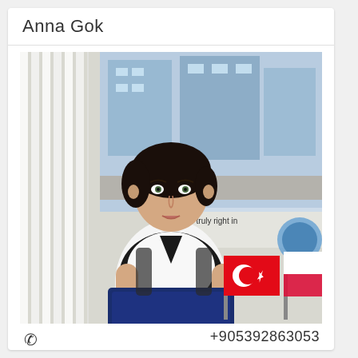Anna Gok
[Figure (photo): Professional portrait photo of Anna Gok sitting at a desk with a blue ASUS laptop, Turkish and Polish flags visible, and a real estate rendering in the background. Text partially visible: 't is truly right in ch']
+905392863053